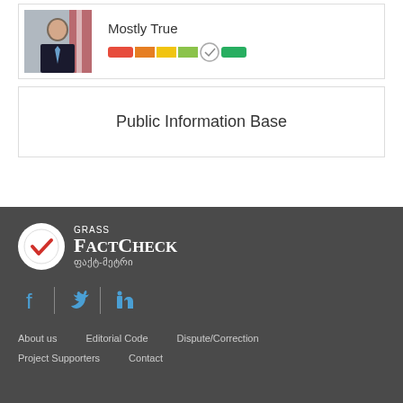[Figure (photo): Photo of a man in a suit with flags in the background, alongside a 'Mostly True' fact-check rating meter]
Public Information Base
[Figure (logo): GRASS FactCheck logo with circular checkmark icon and Georgian text 'ფაქტ-მეტრი']
[Figure (infographic): Social media icons: Facebook, Twitter, LinkedIn]
About us   Editorial Code   Dispute/Correction   Project Supporters   Contact